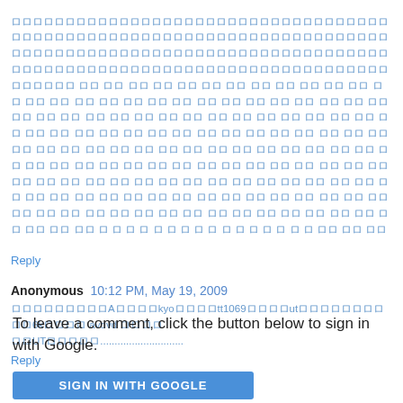[Japanese/CJK text block - comment body with many CJK characters]
Reply
Anonymous  10:12 PM, May 19, 2009
[Japanese/CJK text]AkyoTt1069utUT6k avdvd UT.......................
Reply
To leave a comment, click the button below to sign in with Google.
SIGN IN WITH GOOGLE